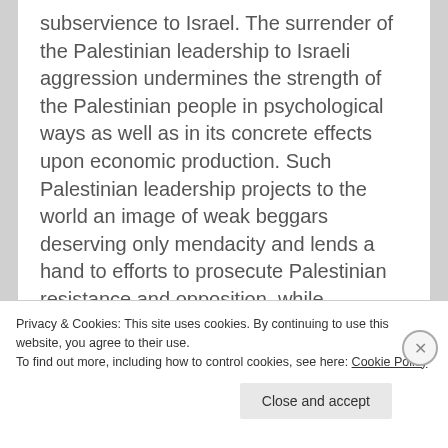subservience to Israel. The surrender of the Palestinian leadership to Israeli aggression undermines the strength of the Palestinian people in psychological ways as well as in its concrete effects upon economic production. Such Palestinian leadership projects to the world an image of weak beggars deserving only mendacity and lends a hand to efforts to prosecute Palestinian resistance and opposition, while exhausting the resources of the Palestinian population with fees, taxes and loans. And in the midst of these harms, the Palestinian Authority sent a delegation of 15 high-profile members led by Muhammad Al-Madani, a member of the PLO Executive Committee, to “enumerate the merits” of
Privacy & Cookies: This site uses cookies. By continuing to use this website, you agree to their use.
To find out more, including how to control cookies, see here: Cookie Policy
Close and accept